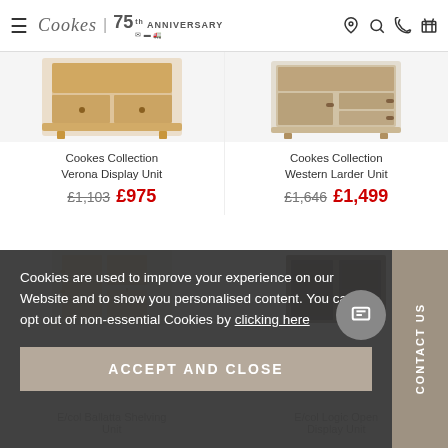Cookes 75th Anniversary
[Figure (photo): Cookes Collection Verona Display Unit product image]
[Figure (photo): Cookes Collection Western Larder Unit product image]
Cookes Collection Verona Display Unit £1,103 £975
Cookes Collection Western Larder Unit £1,646 £1,499
[Figure (photo): Partial product image bottom left]
[Figure (photo): Partial product image bottom right]
Cookies are used to improve your experience on our Website and to show you personalised content. You can opt out of non-essential Cookies by clicking here
ACCEPT AND CLOSE
E/col Ballatta Shelving Unit
E/col Logic Open Display Unit